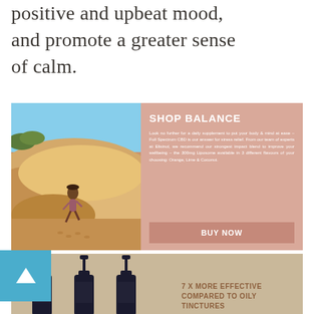positive and upbeat mood, and promote a greater sense of calm.
[Figure (infographic): Pink promotional banner for 'Shop Balance' CBD product featuring a woman running on sand dunes on the left, white text on the right describing Full Spectrum CBD supplement, and a 'BUY NOW' button]
[Figure (infographic): Tan/beige banner showing three dark pump bottles and text '7 X MORE EFFECTIVE COMPARED TO OILY TINCTURES' with a blue arrow-up navigation button overlaid on left]